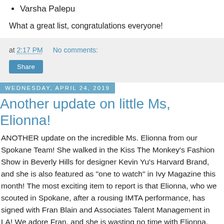Varsha Palepu
What a great list, congratulations everyone!
at 2:17 PM   No comments:
Share
Wednesday, April 24, 2019
Another update on little Ms, Elionna!
ANOTHER update on the incredible Ms. Elionna from our Spokane Team! She walked in the Kiss The Monkey's Fashion Show in Beverly Hills for designer Kevin Yu's Harvard Brand, and she is also featured as "one to watch" in Ivy Magazine this month! The most exciting item to report is that Elionna, who we scouted in Spokane, after a rousing IMTA performance, has signed with Fran Blain and Associates Talent Management in LA! We adore Fran, and she is wasting no time with Elionna, she has already